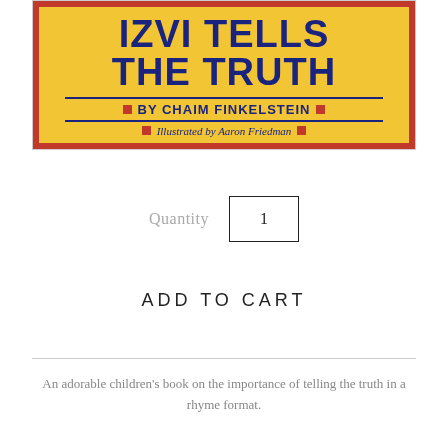[Figure (illustration): Book cover of a children's book showing partial title 'IZVI TELLS THE TRUTH' in large dark blue letters on yellow background, author 'BY CHAIM FINKELSTEIN' and illustrator 'Illustrated by Aaron Friedman', red border]
Quantity   1
ADD TO CART
An adorable children's book on the importance of telling the truth in a rhyme format.